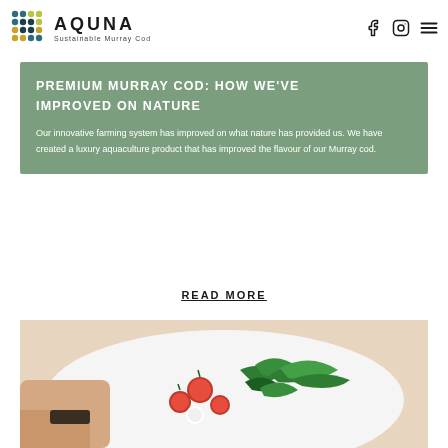AQUNA Sustainable Murray Cod
PREMIUM MURRAY COD: HOW WE'VE IMPROVED ON NATURE
Our innovative farming system has improved on what nature has provided us. We have created a luxury aquaculture product that has improved the flavour of our Murray cod.
READ MORE
[Figure (photo): Food photograph showing hands plating a dish with cherry tomatoes and green herbs/seaweed on a white plate.]